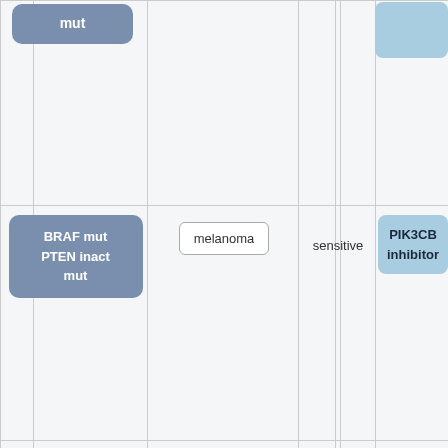[Figure (other): Partial table/diagram showing cancer genomic information. Row 1: 'mut' blue-gray box in col1, light blue partial box in col4. Row 2: 'BRAF mut PTEN inact mut' blue-gray box in col1, 'melanoma' outlined box in col2, 'sensitive' text in col3, 'PIK3CB inhibitor' light-blue box in col4.]